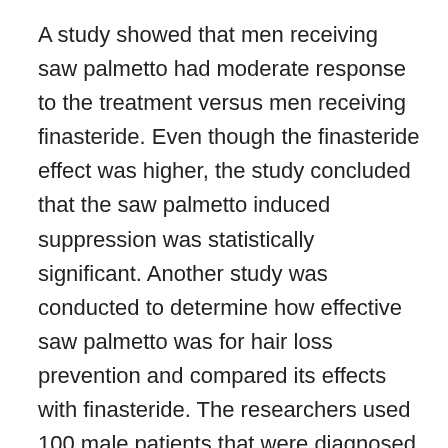A study showed that men receiving saw palmetto had moderate response to the treatment versus men receiving finasteride. Even though the finasteride effect was higher, the study concluded that the saw palmetto induced suppression was statistically significant. Another study was conducted to determine how effective saw palmetto was for hair loss prevention and compared its effects with finasteride. The researchers used 100 male patients that were diagnosed with mild to moderate androgenetic alopecia. The patients were split into two groups, one received saw palmetto and the other received finasteride . The researchers concluded that the saw palmetto group experienced a distinct increase in hair growth. When compared with the finasteride group, those treated with saw palmetto didnt have spectacular results. Another difference between the two was the fact that finasteride acted both in the front area and the vertex while saw palmetto acted mostly in the vertex. Although both